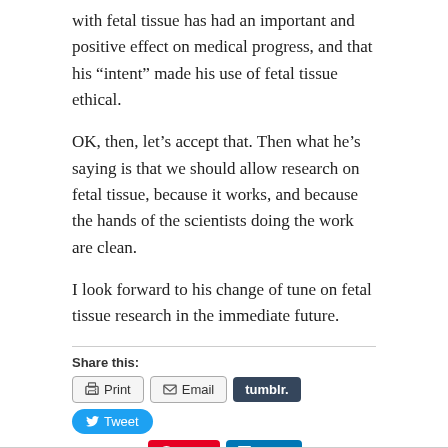with fetal tissue has had an important and positive effect on medical progress, and that his “intent” made his use of fetal tissue ethical.
OK, then, let’s accept that. Then what he’s saying is that we should allow research on fetal tissue, because it works, and because the hands of the scientists doing the work are clean.
I look forward to his change of tune on fetal tissue research in the immediate future.
Share this:
[Figure (other): Share buttons: Print, Email, tumblr., Tweet, Save (Pinterest), Share (LinkedIn)]
« She keeps battering me with data! Make her stop!    I am now officially on vacation »